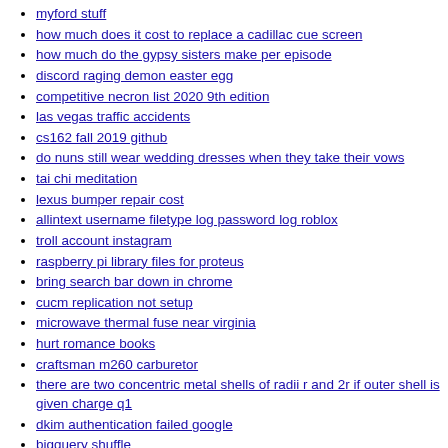myford stuff
how much does it cost to replace a cadillac cue screen
how much do the gypsy sisters make per episode
discord raging demon easter egg
competitive necron list 2020 9th edition
las vegas traffic accidents
cs162 fall 2019 github
do nuns still wear wedding dresses when they take their vows
tai chi meditation
lexus bumper repair cost
allintext username filetype log password log roblox
troll account instagram
raspberry pi library files for proteus
bring search bar down in chrome
cucm replication not setup
microwave thermal fuse near virginia
hurt romance books
craftsman m260 carburetor
there are two concentric metal shells of radii r and 2r if outer shell is given charge q1
dkim authentication failed google
bigquery shuffle
d3 tooltip outside svg
lb meaning in cod